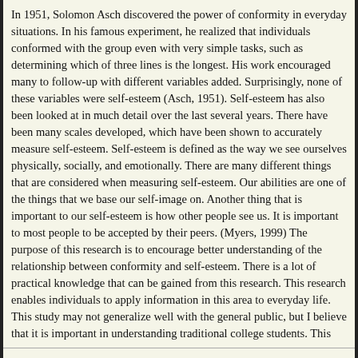In 1951, Solomon Asch discovered the power of conformity in everyday situations. In his famous experiment, he realized that individuals conformed with the group even with very simple tasks, such as determining which of three lines is the longest. His work encouraged many to follow-up with different variables added. Surprisingly, none of these variables were self-esteem (Asch, 1951). Self-esteem has also been looked at in much detail over the last several years. There have been many scales developed, which have been shown to accurately measure self-esteem. Self-esteem is defined as the way we see ourselves physically, socially, and emotionally. There are many different things that are considered when measuring self-esteem. Our abilities are one of the things that we base our self-image on. Another thing that is important to our self-esteem is how other people see us. It is important to most people to be accepted by their peers. (Myers, 1999) The purpose of this research is to encourage better understanding of the relationship between conformity and self-esteem. There is a lot of practical knowledge that can be gained from this research. This research enables individuals to apply information in this area to everyday life. This study may not generalize well with the general public, but I believe that it is important in understanding traditional college students. This research can help us understand which students are more likely to engage in dangerous activities due to peer pressure.